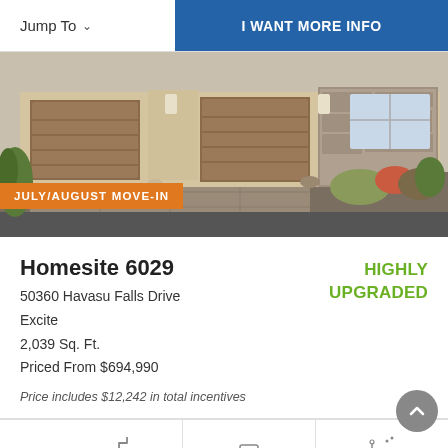Jump To   I WANT MORE INFO
[Figure (photo): Exterior photo of a single-story home with two-car garage, stone accents, desert landscaping, and paver driveway. Orange badge reads JULY/AUGUST MOVE-IN.]
Homesite 6029
50360 Havasu Falls Drive
Excite
2,039 Sq. Ft.
Priced From $694,990
Price includes $12,242 in total incentives
HIGHLY UPGRADED
1  2  2.5